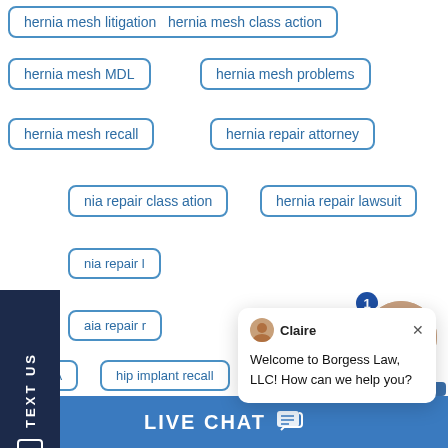hernia mesh litigation hernia mesh class action
hernia mesh MDL
hernia mesh problems
hernia mesh recall
hernia repair attorney
hia repair class ation
hernia repair lawsuit
nia repair l
aia repair r
HIPAA
hip implant recall
hip loosening
hip recall
hip recall attorney
hip recall class action
[Figure (screenshot): Chat popup from Claire at Borgess Law LLC saying Welcome to Borgess Law LLC How can we help you with close button and avatar]
[Figure (photo): Online agent photo with notification badge showing 1 and Online Agent label]
TEXT US
LIVE CHAT